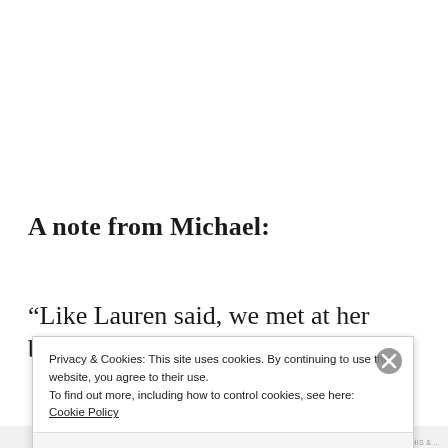A note from Michael:
“Like Lauren said, we met at her brother’s
Privacy & Cookies: This site uses cookies. By continuing to use this website, you agree to their use.
To find out more, including how to control cookies, see here:
Cookie Policy
Close and accept
BLOG THIS &...